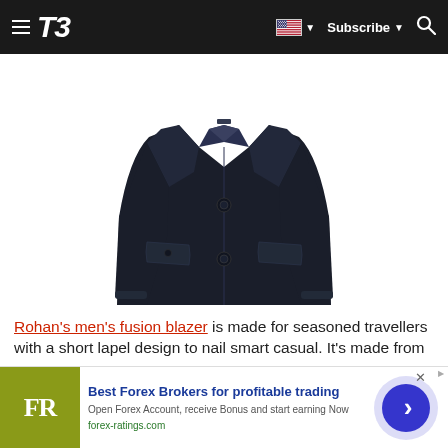T3 — Subscribe
[Figure (photo): Dark navy men's blazer jacket with two buttons and two front pockets, displayed on a white background]
Rohan's men's fusion blazer is made for seasoned travellers with a short lapel design to nail smart casual. It's made from a
[Figure (other): Advertisement banner for Best Forex Brokers for profitable trading — forex-ratings.com]